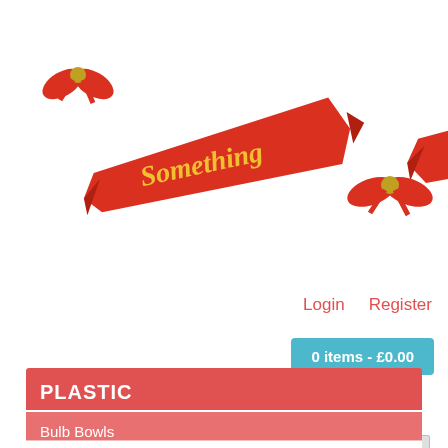[Figure (logo): Something Special decorative banner logo with red ribbon banners and golden italic text reading 'Something Special', with red bow decorations]
Login   Register
0 items - £0.00
Search
PLASTIC
Bulb Bowls
Candle Holder